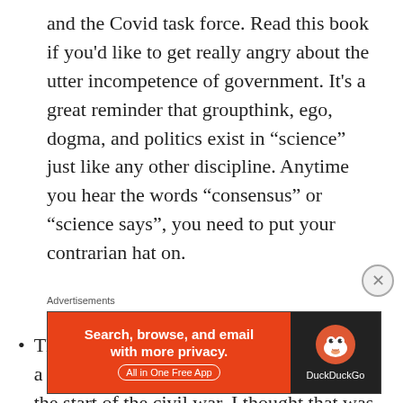and the Covid task force. Read this book if you'd like to get really angry about the utter incompetence of government. It's a great reminder that groupthink, ego, dogma, and politics exist in “science” just like any other discipline. Anytime you hear the words “consensus” or “science says”, you need to put your contrarian hat on.
The 80th anniversary of Pearl Harbor was a few days ago. 80 years before that was the start of the civil war. I thought that was an
Advertisements
[Figure (other): DuckDuckGo advertisement banner: orange left side with text 'Search, browse, and email with more privacy. All in One Free App' and dark right side with DuckDuckGo duck logo and 'DuckDuckGo' text.]